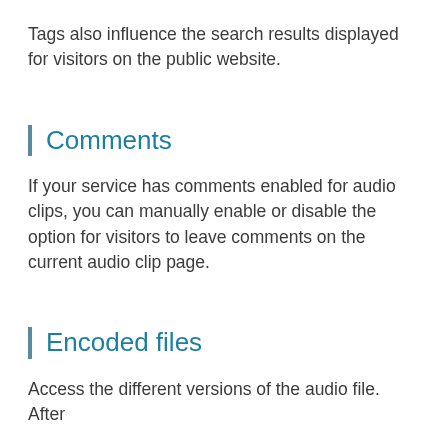Tags also influence the search results displayed for visitors on the public website.
Comments
If your service has comments enabled for audio clips, you can manually enable or disable the option for visitors to leave comments on the current audio clip page.
Encoded files
Access the different versions of the audio file. After